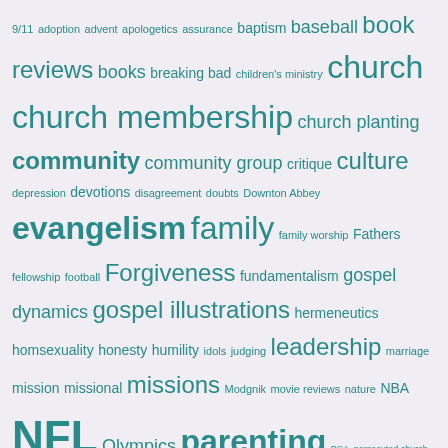9/11 adoption advent apologetics assurance baptism baseball book reviews books breaking bad children's ministry church church membership church planting community community group critique culture depression devotions disagreement doubts Downton Abbey evangelism family family worship Fathers fellowship football Forgiveness fundamentalism gospel dynamics gospel illustrations hermeneutics homsexuality honesty humility idols judging leadership marriage mission missional missions Modgnik movie reviews nature NBA NFL Olympics parenting PCA persecuted church politics pop culture prayer prayer schedule reflections repentance sanctification sermons sex sovereignty sports suffering teaching technology Uncategorized Wifely Prayers Wisdom worship xmas young adults youth youth ministry
CATEGORIES
Uncategorized (938)
META
Register